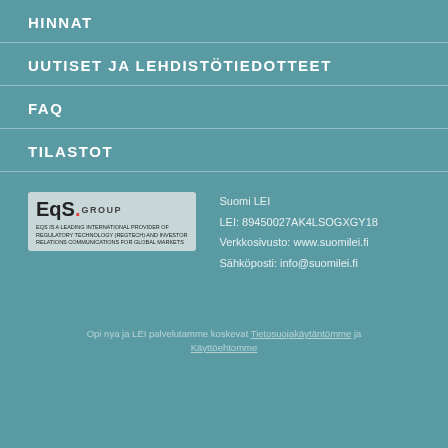HINNAT
UUTISET JA LEHDISTÖTIEDOTTEET
FAQ
TILASTOT
[Figure (logo): EQS Group logo with subtitle text]
Suomi LEI
LEI: 89450027AK4LSOGXGY18
Verkkosivusto: www.suomilei.fi
Sähköposti: info@suomilei.fi
Opi nya ja LEI palvelutamme koskevat Tietosuojakäytäntömme ja Käyttöehtomme